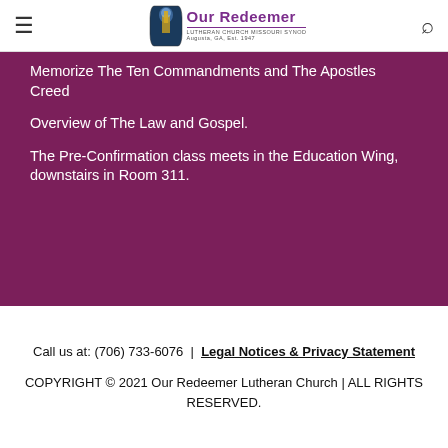Our Redeemer Lutheran Church Missouri Synod Augusta, GA Est. 1947
Memorize The Ten Commandments and The Apostles Creed
Overview of The Law and Gospel.
The Pre-Confirmation class meets in the Education Wing, downstairs in Room 311.
Call us at: (706) 733-6076 | Legal Notices & Privacy Statement
COPYRIGHT © 2021 Our Redeemer Lutheran Church | ALL RIGHTS RESERVED.